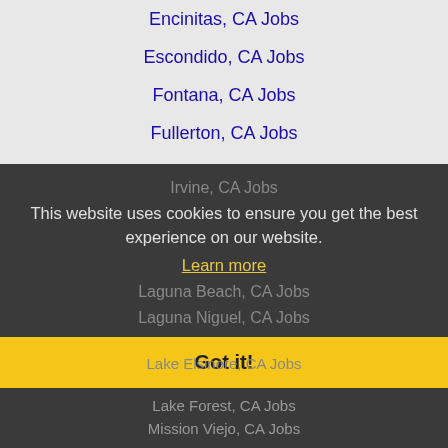Encinitas, CA Jobs
Escondido, CA Jobs
Fontana, CA Jobs
Fullerton, CA Jobs
Garden Grove, CA Jobs
Hemet, CA Jobs
Hesperia, CA Jobs
Highland, CA Jobs
Huntington Beach, CA Jobs
Indio, CA Jobs
Irvine, CA Jobs
This website uses cookies to ensure you get the best experience on our website.
Learn more
Laguna Beach, CA Jobs
Laguna Niguel, CA Jobs
Lake Elsinore, CA Jobs
Got it!
Lake Forest, CA Jobs
Mission Viejo, CA Jobs